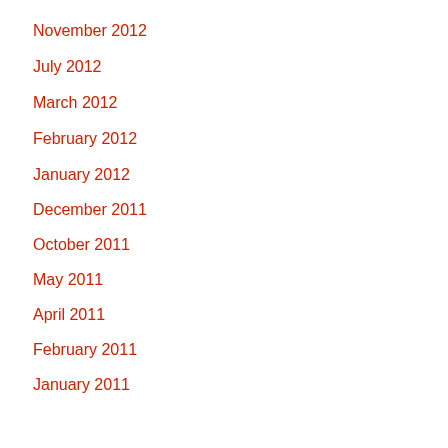November 2012
July 2012
March 2012
February 2012
January 2012
December 2011
October 2011
May 2011
April 2011
February 2011
January 2011